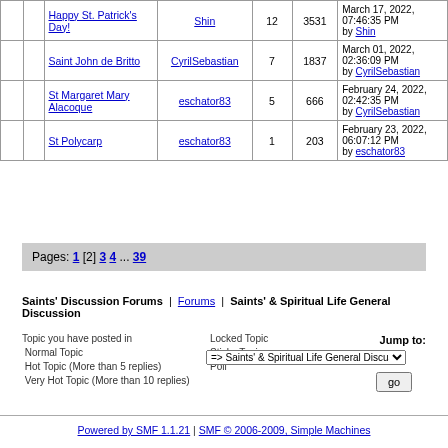|  |  | Subject | Started by | Replies | Views | Last post |
| --- | --- | --- | --- | --- | --- | --- |
|  |  | Happy St. Patrick's Day! | Shin | 12 | 3531 | March 17, 2022, 07:46:35 PM by Shin |
|  |  | Saint John de Britto | CyrilSebastian | 7 | 1837 | March 01, 2022, 02:36:09 PM by CyrilSebastian |
|  |  | St Margaret Mary Alacoque | eschator83 | 5 | 666 | February 24, 2022, 02:42:35 PM by CyrilSebastian |
|  |  | St Polycarp | eschator83 | 1 | 203 | February 23, 2022, 06:07:12 PM by eschator83 |
Pages: 1 [2] 3 4 ... 39
Saints' Discussion Forums | Forums | Saints' & Spiritual Life General Discussion
Topic you have posted in Normal Topic Hot Topic (More than 5 replies) Very Hot Topic (More than 10 replies)
Locked Topic Sticky Topic Poll
Jump to: => Saints' & Spiritual Life General Discussion go
Powered by SMF 1.1.21 | SMF © 2006-2009, Simple Machines